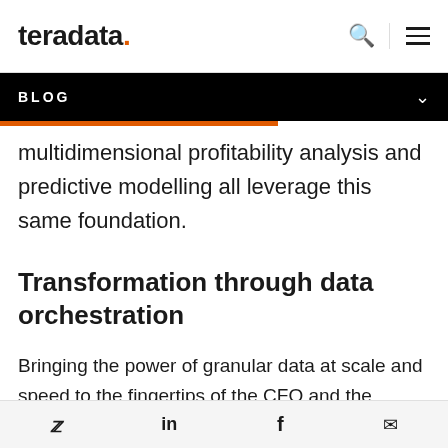teradata. [logo] [search icon] [menu icon]
BLOG
multidimensional profitability analysis and predictive modelling all leverage this same foundation.
Transformation through data orchestration
Bringing the power of granular data at scale and speed to the fingertips of the CFO and the
Twitter | LinkedIn | Facebook | Email